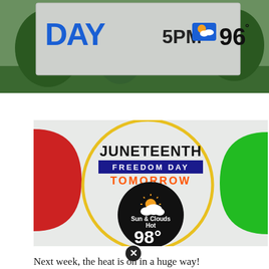[Figure (screenshot): Weather broadcast screenshot showing '5PM' with a partly cloudy icon and '96°' temperature, with 'DAY' text partially visible on a sign, with trees and grass background]
[Figure (infographic): Juneteenth Freedom Day weather forecast card. Bold text: 'JUNETEENTH' with 'FREEDOM DAY' on dark bar below, 'TOMORROW' in orange. Center black circle with sun and clouds icon, text 'Sun & Clouds Hot 98°'. Red semicircle on left, green shape on right, yellow circle outline in center. Gray background.]
Next week, the heat is on in a huge way!
High temperatures will soar into the lower 100s. It will feel like 105 and higher, and that...